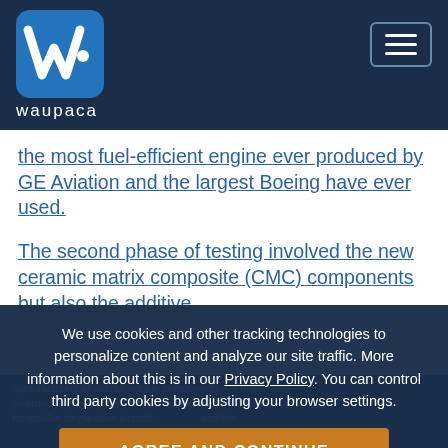[Figure (logo): Waupaca Foundry logo — stylized W icon in blue square with white text 'waupaca' below]
the most fuel-efficient engine ever produced by GE Aviation and the largest Boeing have ever used.
The second phase of testing involved the new ceramic matrix composite (CMC) components but also the additive
We use cookies and other tracking technologies to personalize content and analyze our site traffic. More information about this is in our Privacy Policy. You can control third party cookies by adjusting your browser settings.
AGREE AND CONTINUE